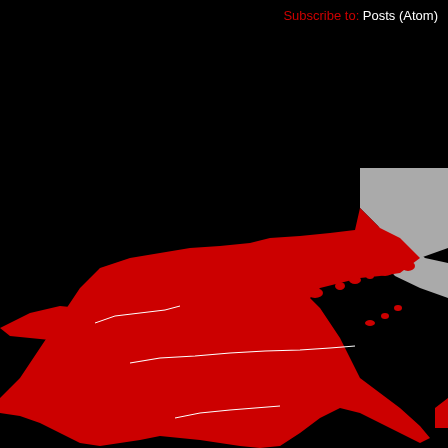Subscribe to: Posts (Atom)
[Figure (map): World map showing North America and part of Eurasia highlighted in red, with Greenland/far northeast in gray, on a black background.]